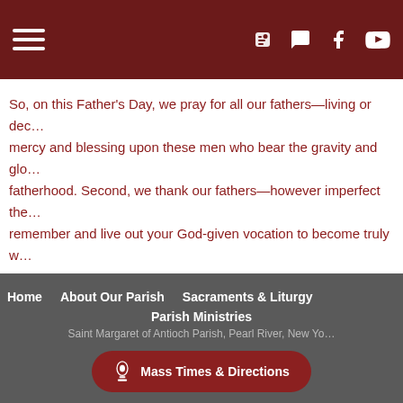Navigation header with hamburger menu and social icons (Blogger, Google+, Facebook, YouTube)
So, on this Father's Day, we pray for all our fathers—living or dec… mercy and blessing upon these men who bear the gravity and glo… fatherhood. Second, we thank our fathers—however imperfect the… remember and live out your God-given vocation to become truly w… Thank you for being a Father.
Home   About Our Parish   Sacraments & Liturgy   Parish Ministries   Saint Margaret of Antioch Parish, Pearl River, New Yo…   Mass Times & Directions